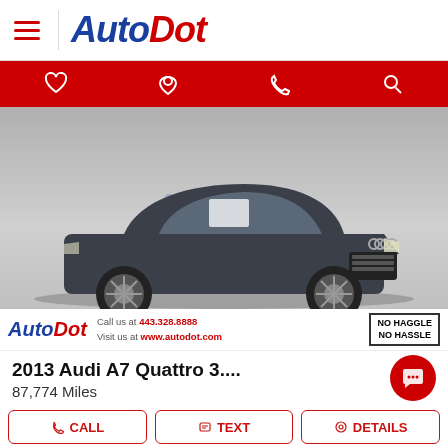[Figure (logo): AutoDot logo with hamburger menu in header bar]
[Figure (infographic): Red navigation bar with heart, location pin, phone, and search icons]
[Figure (photo): Dark gray Audi A7 Quattro sedan on a light gray background with AutoDot watermark]
Call us at 443.328.8888
Visit us at www.autodot.com
NO HAGGLE
NO HASSLE
2013 Audi A7 Quattro 3....
87,774 Miles
CALL   TEXT   DETAILS